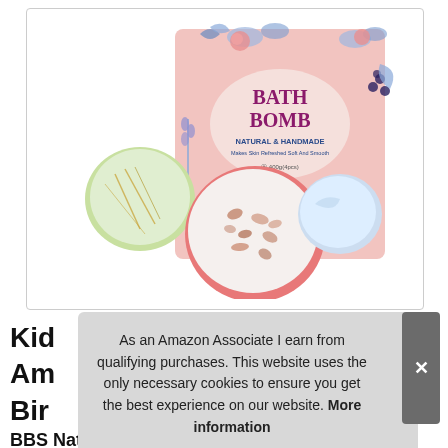[Figure (photo): Product photo of a Bath Bomb gift set. A pink floral box labeled 'BATH BOMB NATURAL & HANDMADE Makes Skin Refreshed Soft And Smooth 400g(4pcs)' is shown alongside three bath bomb balls: one green-and-white, one white with dried flowers, and one pink with rose petals.]
Kid
Am
Bir
BBS Natural Fiz...
As an Amazon Associate I earn from qualifying purchases. This website uses the only necessary cookies to ensure you get the best experience on our website. More information